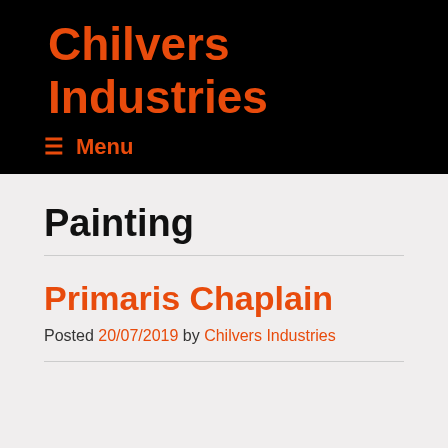Chilvers Industries
≡ Menu
Painting
Primaris Chaplain
Posted 20/07/2019 by Chilvers Industries